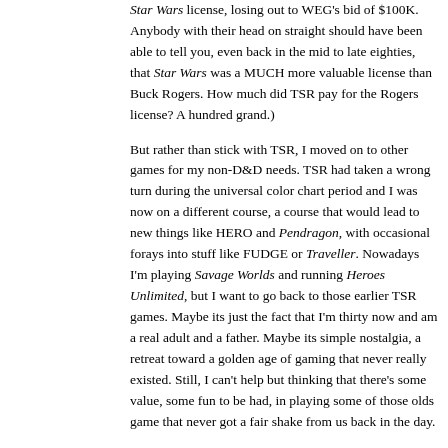Star Wars license, losing out to WEG's bid of $100K. Anybody with their head on straight should have been able to tell you, even back in the mid to late eighties, that Star Wars was a MUCH more valuable license than Buck Rogers. How much did TSR pay for the Rogers license? A hundred grand.)
But rather than stick with TSR, I moved on to other games for my non-D&D needs. TSR had taken a wrong turn during the universal color chart period and I was now on a different course, a course that would lead to new things like HERO and Pendragon, with occasional forays into stuff like FUDGE or Traveller. Nowadays I'm playing Savage Worlds and running Heroes Unlimited, but I want to go back to those earlier TSR games. Maybe its just the fact that I'm thirty now and am a real adult and a father. Maybe its simple nostalgia, a retreat toward a golden age of gaming that never really existed. Still, I can't help but thinking that there's some value, some fun to be had, in playing some of those olds game that never got a fair shake from us back in the day.
Posted by jrients at 10:24 AM CDT
Share This Post
Post Comment | View Comments (2) | Permalink
Thursday, 8 April 2004